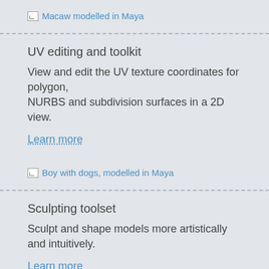[Figure (illustration): Broken image placeholder with alt text 'Macaw modelled in Maya' shown as blue link text]
UV editing and toolkit
View and edit the UV texture coordinates for polygon, NURBS and subdivision surfaces in a 2D view.
Learn more
[Figure (illustration): Broken image placeholder with alt text 'Boy with dogs, modelled in Maya' shown as blue link text]
Sculpting toolset
Sculpt and shape models more artistically and intuitively.
Learn more